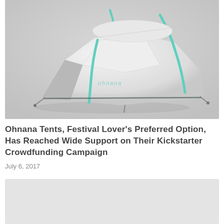[Figure (photo): A white tent with teal/green accent zipper lines and logo, photographed on a light gray background. The tent appears to be a festival/camping tent with a modern design.]
Ohnana Tents, Festival Lover's Preferred Option, Has Reached Wide Support on Their Kickstarter Crowdfunding Campaign
July 6, 2017
[Figure (photo): Partially visible second image, mostly gray/light colored, cropped at bottom of page.]